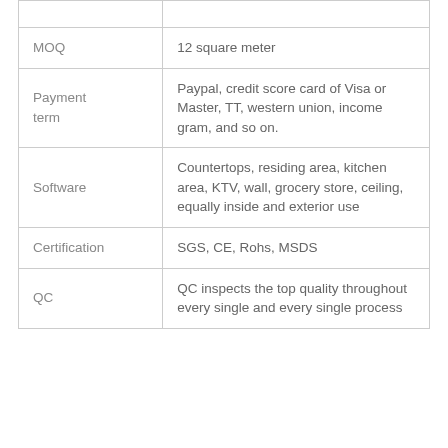|  |  |
| --- | --- |
| MOQ | 12 square meter |
| Payment term | Paypal, credit score card of Visa or Master, TT, western union, income gram, and so on. |
| Software | Countertops, residing area, kitchen area, KTV, wall, grocery store, ceiling, equally inside and exterior use |
| Certification | SGS, CE, Rohs, MSDS |
| QC | QC inspects the top quality throughout every single and every single process |